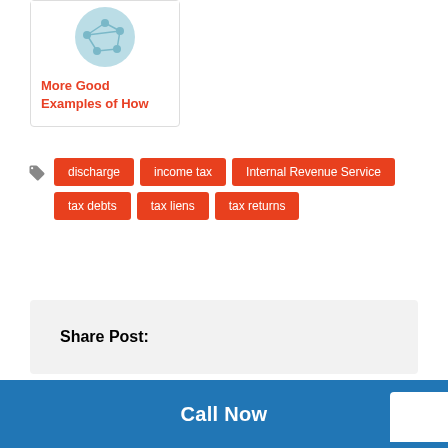[Figure (illustration): Partial card with teal circular network/graph icon and red title text]
More Good Examples of How
discharge
income tax
Internal Revenue Service
tax debts
tax liens
tax returns
Share Post:
Call Now